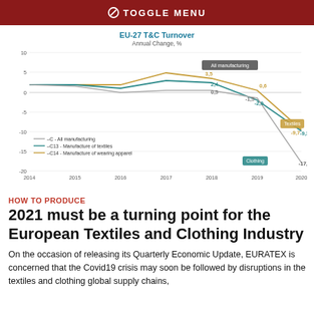TOGGLE MENU
[Figure (line-chart): EU-27 T&C Turnover]
HOW TO PRODUCE
2021 must be a turning point for the European Textiles and Clothing Industry
On the occasion of releasing its Quarterly Economic Update, EURATEX is concerned that the Covid19 crisis may soon be followed by disruptions in the textiles and clothing global supply chains,